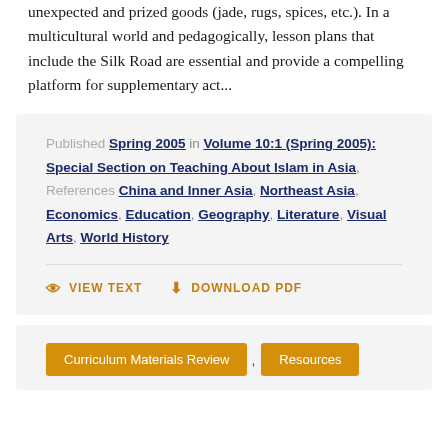unexpected and prized goods (jade, rugs, spices, etc.). In a multicultural world and pedagogically, lesson plans that include the Silk Road are essential and provide a compelling platform for supplementary act...
Published Spring 2005 in Volume 10:1 (Spring 2005): Special Section on Teaching About Islam in Asia. References China and Inner Asia, Northeast Asia, Economics, Education, Geography, Literature, Visual Arts, World History
VIEW TEXT    DOWNLOAD PDF
Curriculum Materials Review , Resources